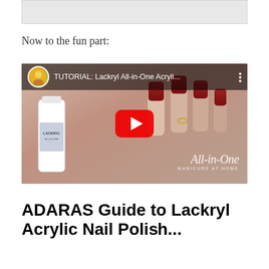[Figure (photo): Partial top strip of an image, cropped at the top of the page]
Now to the fun part:
[Figure (screenshot): YouTube video thumbnail for 'TUTORIAL: Lackryl All-in-One Acryli...' showing red nails and a Lackryl nail product bottle, with a red YouTube play button in the center and 'All-in-One Manicure At Home' script text in the lower right corner]
ADARAS Guide to Lackryl Acrylic Nail Polish...